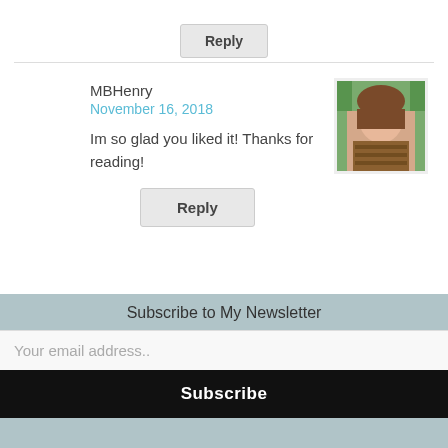Reply
MBHenry
November 16, 2018
Im so glad you liked it! Thanks for reading!
Reply
[Figure (photo): Profile photo of a woman outdoors]
Nasuko
November 17, 2018
[Figure (illustration): Gold and white geometric diamond pattern avatar]
Subscribe to My Newsletter
Your email address..
Subscribe